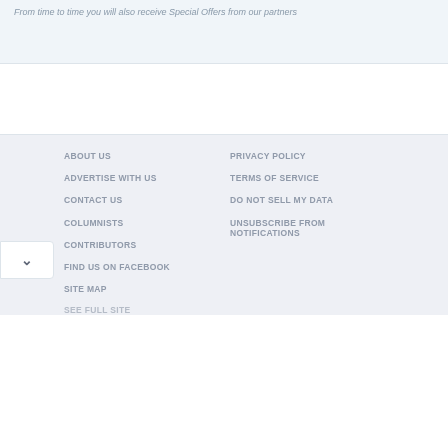From time to time you will also receive Special Offers from our partners
ABOUT US | ADVERTISE WITH US | CONTACT US | COLUMNISTS | CONTRIBUTORS | FIND US ON FACEBOOK | SITE MAP | SEE FULL SITE | PRIVACY POLICY | TERMS OF SERVICE | DO NOT SELL MY DATA | UNSUBSCRIBE FROM NOTIFICATIONS